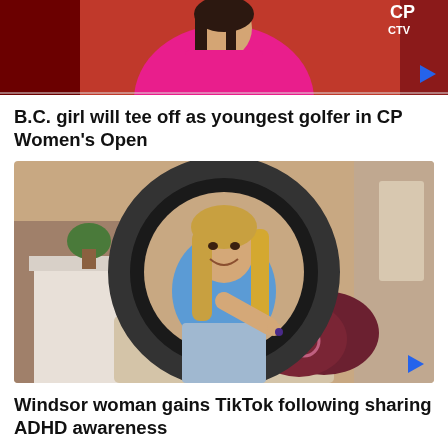[Figure (photo): Screenshot of a news video thumbnail showing a woman in a pink polo shirt with CP and CTV logos visible]
B.C. girl will tee off as youngest golfer in CP Women's Open
[Figure (photo): Photo of a young woman with long blonde hair sitting in front of a ring light in a living room, wearing a blue top and jeans, pointing toward the camera]
Windsor woman gains TikTok following sharing ADHD awareness